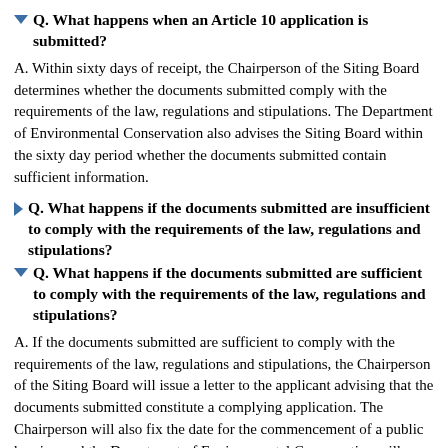Q. What happens when an Article 10 application is submitted?
A. Within sixty days of receipt, the Chairperson of the Siting Board determines whether the documents submitted comply with the requirements of the law, regulations and stipulations. The Department of Environmental Conservation also advises the Siting Board within the sixty day period whether the documents submitted contain sufficient information.
Q. What happens if the documents submitted are insufficient to comply with the requirements of the law, regulations and stipulations?
Q. What happens if the documents submitted are sufficient to comply with the requirements of the law, regulations and stipulations?
A. If the documents submitted are sufficient to comply with the requirements of the law, regulations and stipulations, the Chairperson of the Siting Board will issue a letter to the applicant advising that the documents submitted constitute a complying application. The Chairperson will also fix the date for the commencement of a public hearing and the Department of Environmental Conservation will initiate its review pursuant to